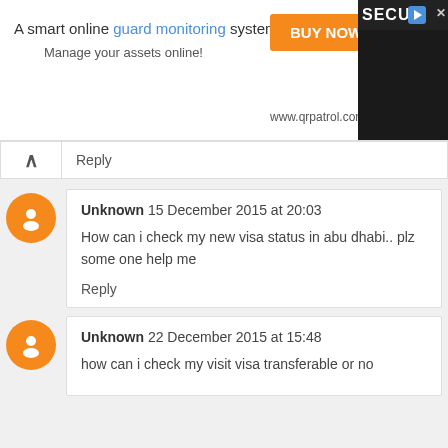[Figure (screenshot): Advertisement banner for QR Patrol, a smart online guard monitoring system. Shows text 'A smart online guard monitoring system', 'Manage your assets online!', an orange 'BUY NOW' button, 'www.qrpatrol.com', and a security guard photo on the right.]
Reply
Unknown 15 December 2015 at 20:03
How can i check my new visa status in abu dhabi.. plz some one help me
Reply
Unknown 22 December 2015 at 15:48
how can i check my visit visa transferable or no